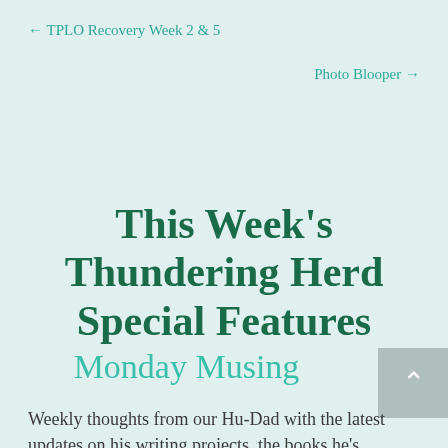← TPLO Recovery Week 2 & 5
Photo Blooper →
This Week's Thundering Herd Special Features
Monday Musing
Weekly thoughts from our Hu-Dad with the latest updates on his writing projects, the books he's reading, and a gratuitous dog photo